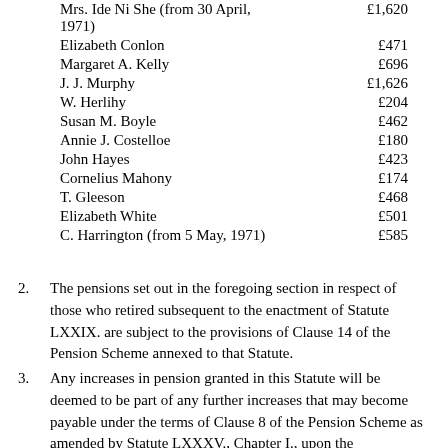| Name | Amount |
| --- | --- |
| Mrs. Ide Ni She (from 30 April, 1971) | £1,620 |
| Elizabeth Conlon | £471 |
| Margaret A. Kelly | £696 |
| J. J. Murphy | £1,626 |
| W. Herlihy | £204 |
| Susan M. Boyle | £462 |
| Annie J. Costelloe | £180 |
| John Hayes | £423 |
| Cornelius Mahony | £174 |
| T. Gleeson | £468 |
| Elizabeth White | £501 |
| C. Harrington (from 5 May, 1971) | £585 |
2. The pensions set out in the foregoing section in respect of those who retired subsequent to the enactment of Statute LXXIX. are subject to the provisions of Clause 14 of the Pension Scheme annexed to that Statute.
3. Any increases in pension granted in this Statute will be deemed to be part of any further increases that may become payable under the terms of Clause 8 of the Pension Scheme as amended by Statute LXXXV., Chapter I., upon the